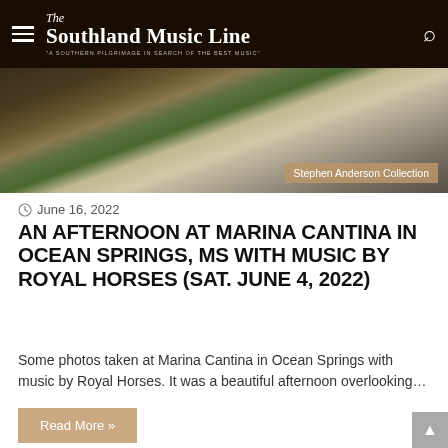The Southland Music Line — "A Southern Pilgrimage In Search Of The Best Music"
[Figure (photo): Outdoor patio area with dappled sunlight and shadows on pavement, wooden structure visible, grass in foreground. Credit: Stephen Anderson Collection]
June 16, 2022
AN AFTERNOON AT MARINA CANTINA IN OCEAN SPRINGS, MS WITH MUSIC BY ROYAL HORSES (SAT. JUNE 4, 2022)
Some photos taken at Marina Cantina in Ocean Springs with music by Royal Horses. It was a beautiful afternoon overlooking…
Read More »
[Figure (photo): Indoor concert venue photo — performer with blonde hair on stage, colorful lights and signage in background]